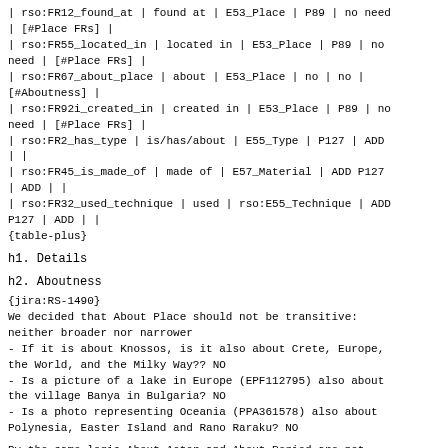| rso:FR12_found_at | found at | E53_Place | P89 | no need | [#Place FRs] |
| rso:FR55_located_in | located in | E53_Place | P89 | no need | [#Place FRs] |
| rso:FR67_about_place | about | E53_Place | no | no | [#Aboutness] |
| rso:FR92i_created_in | created in | E53_Place | P89 | no need | [#Place FRs] |
| rso:FR2_has_type | is/has/about | E55_Type | P127 | ADD |  |
| rso:FR45_is_made_of | made of | E57_Material | ADD P127 | ADD |  |
| rso:FR32_used_technique | used | rso:E55_Technique | ADD P127 | ADD |  |
{table-plus}
h1. Details
h2. Aboutness
{jira:RS-1490}
We decided that About Place should not be transitive: neither broader nor narrower
- If it is about Knossos, is it also about Crete, Europe, the World, and the Milky Way?? NO
- Is a picture of a lake in Europe (EPF112795) also about the village Banya in Bulgaria? NO
- Is a photo representing Oceania (PPA361578) also about Polynesia, Easter Island and Rano Raraku? NO
By the same logic About Actor and About Period are not transitive